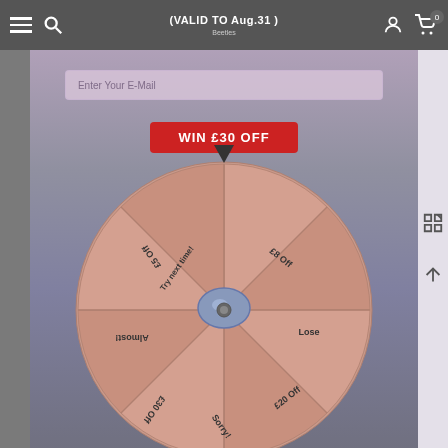(VALID TO Aug.31)
[Figure (screenshot): Email input field with placeholder text 'Enter Your E-Mail']
[Figure (other): Red button labeled 'WIN £30 OFF']
[Figure (infographic): Pink spinning prize wheel with segments labeled: Try next time!, £8 Off, Lose, £20 Off, Sorry!, £30 Off, Almost!, £5 Off]